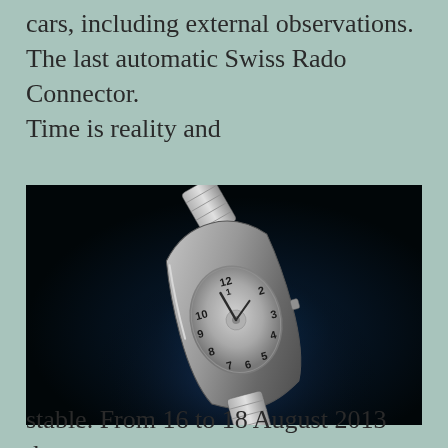cars, including external observations. The last automatic Swiss Rado Connector.
Time is reality and
[Figure (photo): A silver/metallic luxury wristwatch with a tonneau-shaped case, displayed at an angle against a dark blue-black background with dramatic studio lighting. The watch face shows large bold numerals arranged around the dial.]
stable. From 16 to 18 August 2013 they say